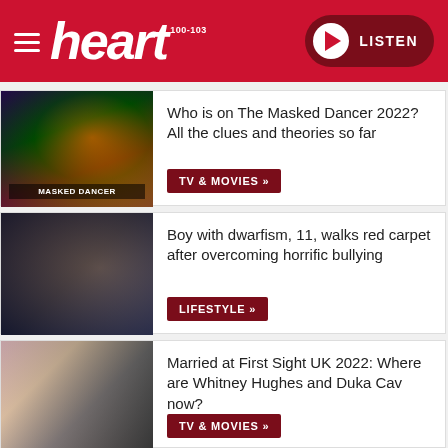heart 100-103 LISTEN
Who is on The Masked Dancer 2022? All the clues and theories so far
TV & MOVIES »
Boy with dwarfism, 11, walks red carpet after overcoming horrific bullying
LIFESTYLE »
Married at First Sight UK 2022: Where are Whitney Hughes and Duka Cav now?
TV & MOVIES »